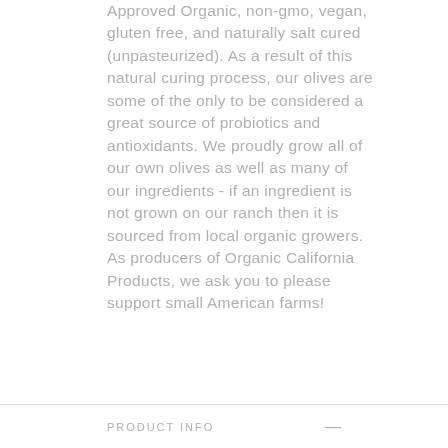Approved Organic, non-gmo, vegan, gluten free, and naturally salt cured (unpasteurized). As a result of this natural curing process, our olives are some of the only to be considered a great source of probiotics and antioxidants. We proudly grow all of our own olives as well as many of our ingredients - if an ingredient is not grown on our ranch then it is sourced from local organic growers. As producers of Organic California Products, we ask you to please support small American farms!
PRODUCT INFO